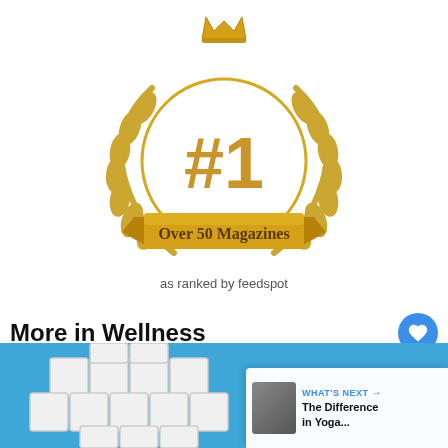[Figure (logo): Gold #1 award badge with laurel wreath, crown on top, and golden ribbon banner reading 'Over 50 Magazines']
as ranked by feedspot
More in Wellness
[Figure (photo): Blue background with white puzzle pieces shaped like a brain/head. Overlay card shows 'WHAT'S NEXT' label and text 'The Difference in Yoga...' with a thumbnail photo.]